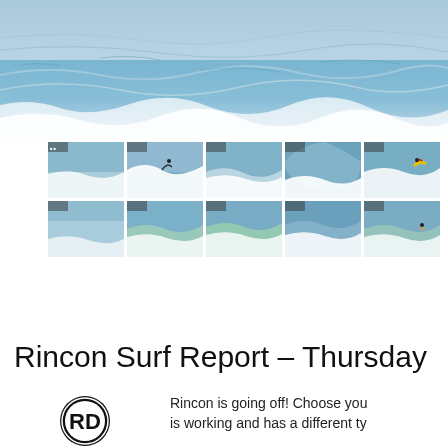[Figure (photo): Large hero photograph of ocean waves with whitewash and blue water]
[Figure (photo): Grid of 10 thumbnail surf photos showing waves and surfers at Rincon]
Rincon Surf Report – Thursday
[Figure (logo): Rincon surf report circular logo with stylized letters]
Rincon is going off! Choose you is working and has a different ty